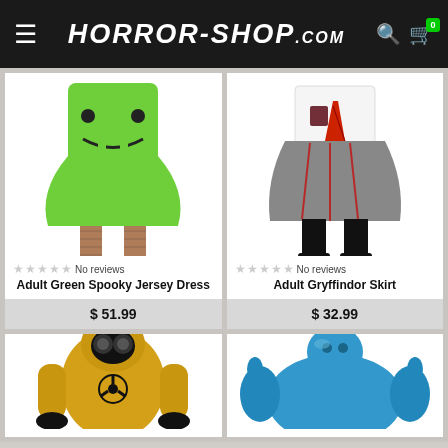HORROR-SHOP.COM
[Figure (photo): Woman wearing green spooky jack-o-lantern face jersey dress with fishnet stockings and black boots]
No reviews
Adult Green Spooky Jersey Dress
$ 51.99
[Figure (photo): Woman wearing Gryffindor skirt with white shirt, red tie, grey plaid skirt and black knee-high socks]
No reviews
Adult Gryffindor Skirt
$ 32.99
[Figure (photo): Person wearing yellow hazmat suit with gas mask and black gloves]
[Figure (photo): Person wearing inflatable blue full-body chubby suit costume]